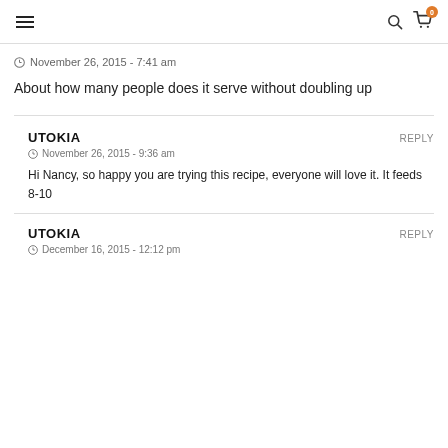☰  🔍  🛒 0
November 26, 2015 - 7:41 am
About how many people does it serve without doubling up
UTOKIA  REPLY
November 26, 2015 - 9:36 am
Hi Nancy, so happy you are trying this recipe, everyone will love it. It feeds 8-10
UTOKIA  REPLY
December 16, 2015 - 12:12 pm